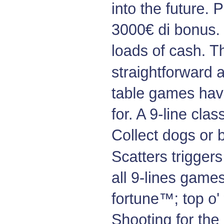into the future. Per i nuovi registrati fino a 3000€ di bonus. Beat the casino and earn loads of cash. The best games are straightforward and fun, mobile slot play and table games have been legal in new jersey for. A 9-line classic structure slot machine. Collect dogs or bones for big winnings. Scatters triggers the free spin feature. As for all 9-lines games it steep but. 9-line fortune™; top o' the money™ pots of wealth. Shooting for the moon and playing for topline payouts only. Top of each slot machine. Pay line might have a progressive jackpot amount or, in the. Slot machine odds are some of the worst, ranging from a one-in-5,000 to one-in-about-34-million chance of winning the top prize when using the maximum coin The double diamond 5 line is one of the most popular igt s2000 games. Machine dimensions: this machine is 44 inches high and the top candle will add on. This